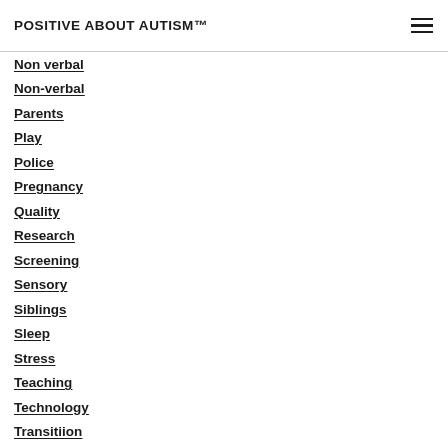POSITIVE ABOUT AUTISM™
Non verbal
Non-verbal
Parents
Play
Police
Pregnancy
Quality
Research
Screening
Sensory
Siblings
Sleep
Stress
Teaching
Technology
Transitiion
University